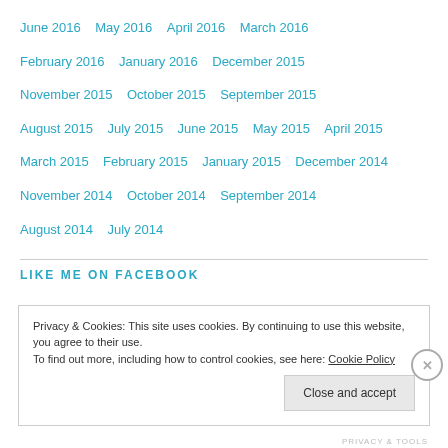June 2016   May 2016   April 2016   March 2016   February 2016   January 2016   December 2015   November 2015   October 2015   September 2015   August 2015   July 2015   June 2015   May 2015   April 2015   March 2015   February 2015   January 2015   December 2014   November 2014   October 2014   September 2014   August 2014   July 2014
LIKE ME ON FACEBOOK
Privacy & Cookies: This site uses cookies. By continuing to use this website, you agree to their use.
To find out more, including how to control cookies, see here: Cookie Policy
PRIVACY & TOOLS